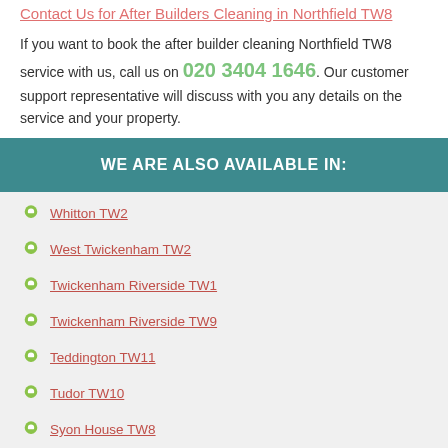Contact Us for After Builders Cleaning in Northfield TW8
If you want to book the after builder cleaning Northfield TW8 service with us, call us on 020 3404 1646. Our customer support representative will discuss with you any details on the service and your property.
WE ARE ALSO AVAILABLE IN:
Whitton TW2
West Twickenham TW2
Twickenham Riverside TW1
Twickenham Riverside TW9
Teddington TW11
Tudor TW10
Syon House TW8